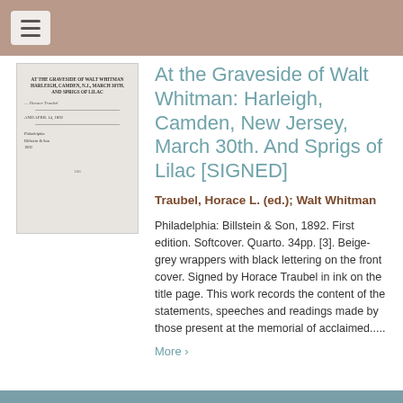[Figure (photo): Photograph of the interior title page of a booklet showing handwritten text and printed title 'At the Graveside of Walt Whitman, Harleigh, Camden, N.J., March 30th' with a signature in ink.]
At the Graveside of Walt Whitman: Harleigh, Camden, New Jersey, March 30th. And Sprigs of Lilac [SIGNED]
Traubel, Horace L. (ed.); Walt Whitman
Philadelphia: Billstein & Son, 1892. First edition. Softcover. Quarto. 34pp. [3]. Beige-grey wrappers with black lettering on the front cover. Signed by Horace Traubel in ink on the title page. This work records the content of the statements, speeches and readings made by those present at the memorial of acclaimed.....
More >